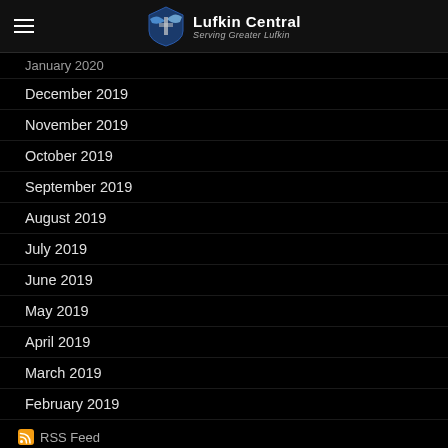Lufkin Central — Serving Greater Lufkin
January 2020
December 2019
November 2019
October 2019
September 2019
August 2019
July 2019
June 2019
May 2019
April 2019
March 2019
February 2019
January 2019
June 2018
March 2018
February 2018
November 2017
RSS Feed